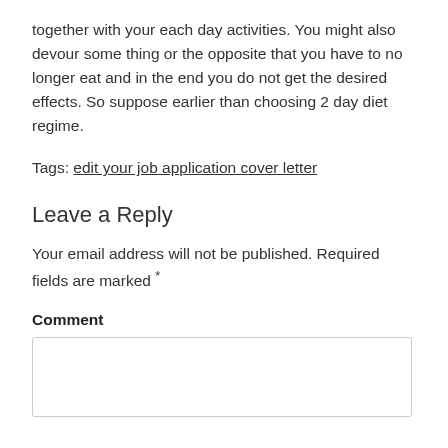together with your each day activities. You might also devour some thing or the opposite that you have to no longer eat and in the end you do not get the desired effects. So suppose earlier than choosing 2 day diet regime.
Tags: edit your job application cover letter
Leave a Reply
Your email address will not be published. Required fields are marked *
Comment